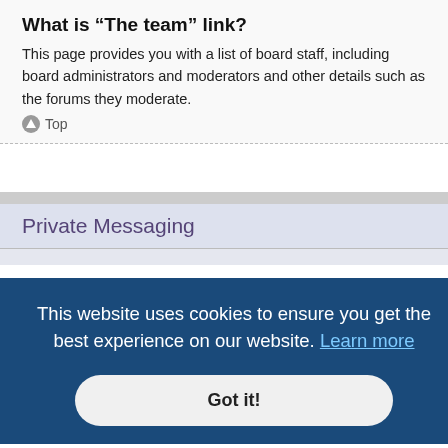What is “The team” link?
This page provides you with a list of board staff, including board administrators and moderators and other details such as the forums they moderate.
▲ Top
Private Messaging
I cannot send private messages!
There are three reasons for this; you are not registered and/or not logged on, the board administrator has disabled private messaging for the entire
[Figure (screenshot): Cookie consent banner overlay with dark blue background: 'This website uses cookies to ensure you get the best experience on our website. Learn more' and a 'Got it!' button.]
message rules within your User Control Panel. If you are receiving unwanted private messages from a particular user, report the